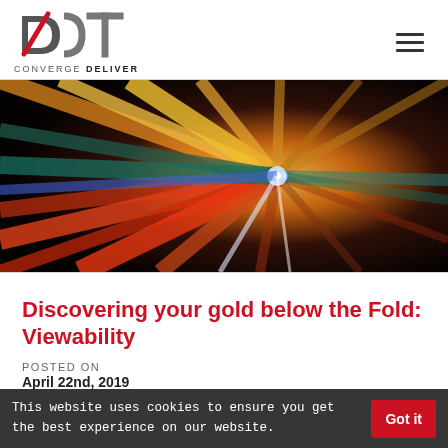[Figure (logo): DCT logo with red diagonal slash through D, grey letters C and T, tagline CONVERGE DELIVER below]
[Figure (photo): Abstract speed tunnel with radial motion blur streaks of orange, yellow, red, blue, green, and white light converging to a bright center point on a black background]
Discovering your gold below the Fold: Viewability
POSTED ON
April 22nd, 2019
This website uses cookies to ensure you get the best experience on our website.